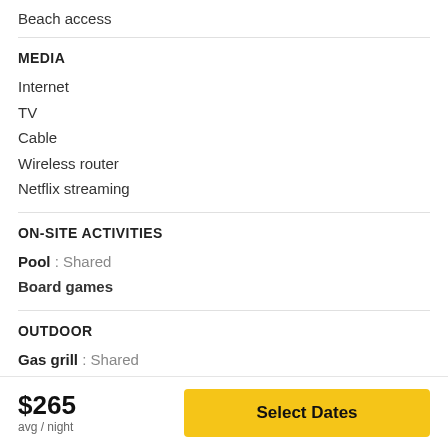Beach access
MEDIA
Internet
TV
Cable
Wireless router
Netflix streaming
ON-SITE ACTIVITIES
Pool : Shared
Board games
OUTDOOR
Gas grill : Shared
Balcony
$265 avg / night
Select Dates